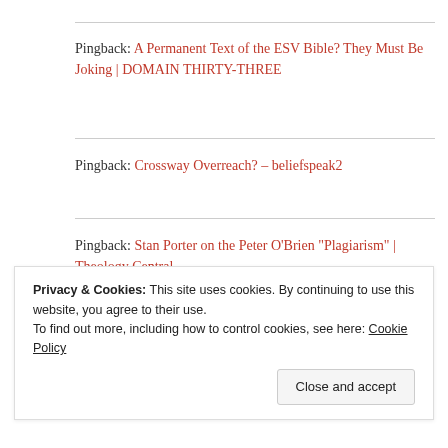Pingback: A Permanent Text of the ESV Bible? They Must Be Joking | DOMAIN THIRTY-THREE
Pingback: Crossway Overreach? – beliefspeak2
Pingback: Stan Porter on the Peter O’Brien “Plagiarism” | Theology Central
Privacy & Cookies: This site uses cookies. By continuing to use this website, you agree to their use.
To find out more, including how to control cookies, see here: Cookie Policy